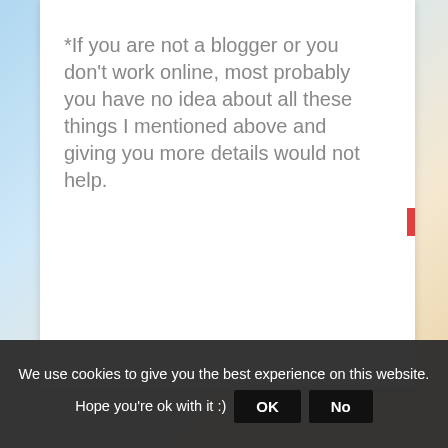*If you are not a blogger or you don't work online, most probably you have no idea about all these things I mentioned above and giving you more details would not help.
We use cookies to give you the best experience on this website. Hope you're ok with it :)